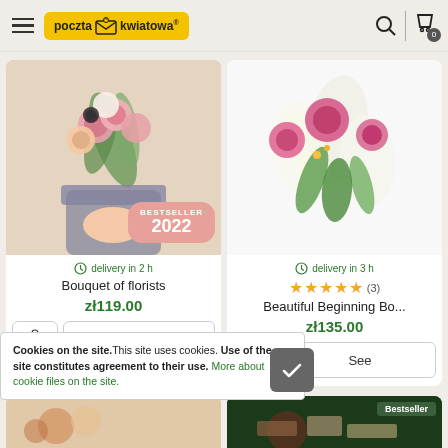poczta kwiatowa
[Figure (photo): Bouquet of florists with BESTSELLER 2022 badge]
delivery in 2 h
Bouquet of florists
zł119.00
[Figure (photo): Beautiful Beginning Bouquet with pink roses and white lilies]
delivery in 3 h
★★★★★ (3)
Beautiful Beginning Bo...
zł135.00
Cookies on the site. This site uses cookies. Use of the site constitutes agreement to their use. More about cookie files on the site.
[Figure (photo): Partial view of product at bottom right with Bestseller label]